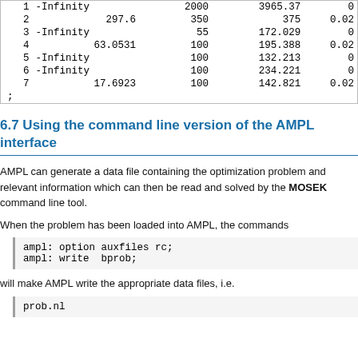| 1 | -Infinity | 2000 | 3965.37 | 0 |
| 2 | 297.6 | 350 | 375 | 0.02 |
| 3 | -Infinity | 55 | 172.029 | 0 |
| 4 | 63.0531 | 100 | 195.388 | 0.02 |
| 5 | -Infinity | 100 | 132.213 | 0 |
| 6 | -Infinity | 100 | 234.221 | 0 |
| 7 | 17.6923 | 100 | 142.821 | 0.02 |
| ; |  |  |  |  |
6.7 Using the command line version of the AMPL interface
AMPL can generate a data file containing the optimization problem and relevant information which can then be read and solved by the MOSEK command line tool.
When the problem has been loaded into AMPL, the commands
ampl: option auxfiles rc;
ampl: write  bprob;
will make AMPL write the appropriate data files, i.e.
prob.nl